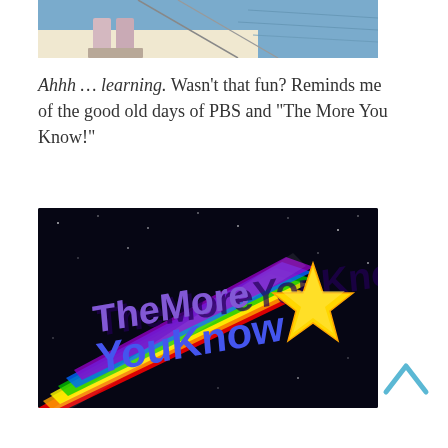[Figure (photo): Partial photo showing a person's legs/feet on a boat deck with water in the background, cropped at top.]
Ahhh … learning.  Wasn't that fun?  Reminds me of the good old days of PBS and “The More You Know!”
[Figure (photo): "The More You Know" NBC logo with colorful rainbow shooting star on a dark starry night sky background.]